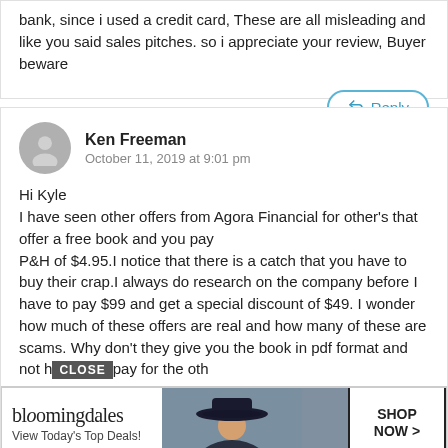bank, since i used a credit card, These are all misleading and like you said sales pitches. so i appreciate your review, Buyer beware
Reply
Ken Freeman
October 11, 2019 at 9:01 pm
Hi Kyle
I have seen other offers from Agora Financial for other's that offer a free book and you pay
P&H of $4.95.I notice that there is a catch that you have to buy their crap.I always do research on the company before I have to pay $99 and get a special discount of $49. I wonder how much of these offers are real and how many of these are scams. Why don't they give you the book in pdf format and not h[CLOSE]pay for the oth...
[Figure (infographic): Bloomingdale's advertisement banner with logo, tagline 'View Today's Top Deals!', a woman in a hat, and 'SHOP NOW >' button]